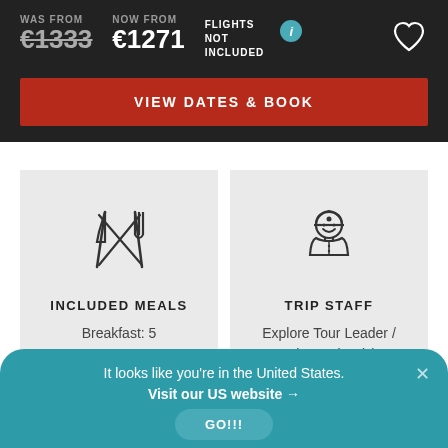WAS FROM €1333
NOW FROM €1271
FLIGHTS NOT INCLUDED
VIEW DATES & BOOK
[Figure (illustration): Crossed knife and fork icon representing included meals]
INCLUDED MEALS
Breakfast: 5
[Figure (illustration): Tour guide / driver person icon with helmet and smile]
TRIP STAFF
Explore Tour Leader / Driver Driver(s)
It looks like you're in the United States.
Visit our US website →